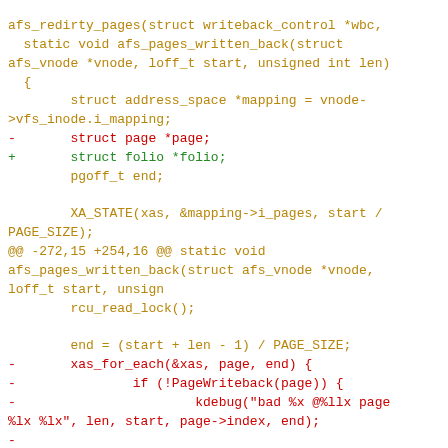Code diff showing afs_pages_written_back function refactor from page to folio in Linux kernel AFS filesystem code